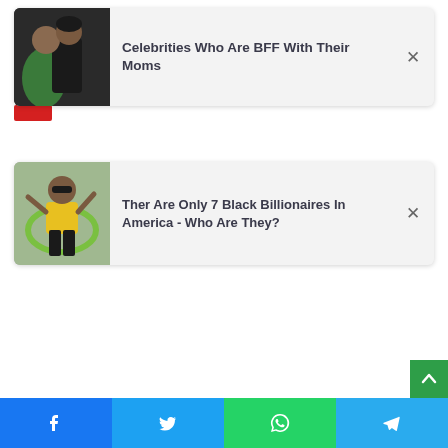[Figure (screenshot): Notification card with thumbnail of two people hugging, text: Celebrities Who Are BFF With Their Moms, with X close button]
[Figure (screenshot): Notification card with thumbnail of woman in yellow top hula hooping, text: Ther Are Only 7 Black Billionaires In America - Who Are They?, with X close button]
[Figure (infographic): Social sharing bar at bottom with Facebook, Twitter, WhatsApp, and Telegram buttons]